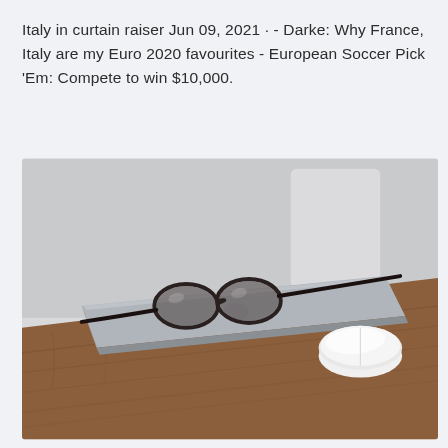Italy in curtain raiser Jun 09, 2021 · - Darke: Why France, Italy are my Euro 2020 favourites - European Soccer Pick 'Em: Compete to win $10,000.
[Figure (photo): A closed silver laptop with a pair of dark-framed glasses resting on top, placed on a wooden desk. A white Apple Magic Mouse sits to the right. A white chair back is visible in the background against a light grey wall.]